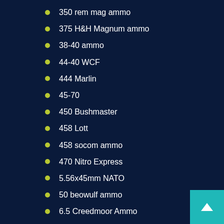350 rem mag ammo
375 H&H Magnum ammo
38-40 ammo
44-40 WCF
444 Marlin
45-70
450 Bushmaster
458 Lott
458 socom ammo
470 Nitro Express
5.56x45mm NATO
50 beowulf ammo
6.5 Creedmoor Ammo
6.5 GRENDEL AMMO
6.5 PRC AMMO
6.8 western